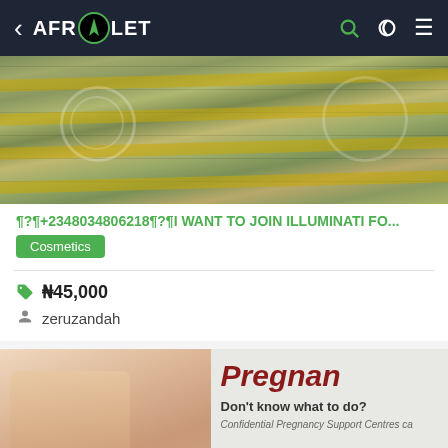AFROLET
[Figure (photo): Stack of US dollar bills bundled together]
¶?¶+2348034806218¶?¶I WANT TO JOIN ILLUMINATI FO...
Cosmetics
₦45,000
zeruzandah
[Figure (photo): Pregnant woman looking concerned next to text reading 'Pregnant - Don't know what to do? Confidential Pregnancy Support Centres ca']
In Lenasia Clinic ((**+27739868698**)) Safe Cytotec...